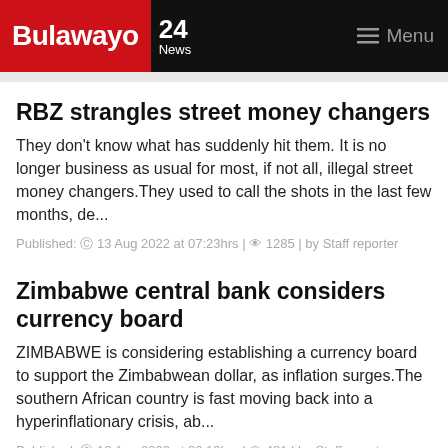Bulawayo 24 News | Menu
RBZ strangles street money changers
They don't know what has suddenly hit them. It is no longer business as usual for most, if not all, illegal street money changers.They used to call the shots in the last few months, de...
Published: © 13 Aug 2022 at 07:23hrs | 👁 1285 | by Staff reporter
Zimbabwe central bank considers currency board
ZIMBABWE is considering establishing a currency board to support the Zimbabwean dollar, as inflation surges.The southern African country is fast moving back into a hyperinflationary crisis, ab...
Published: © 12 Aug 2022 at 20:19hrs | 👁 481 | by Staff reporter